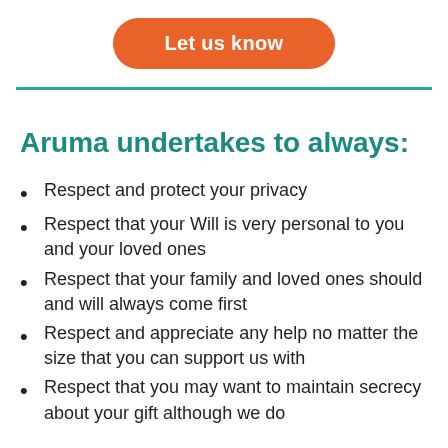[Figure (other): Orange pill-shaped button with white bold text 'Let us know']
Aruma undertakes to always:
Respect and protect your privacy
Respect that your Will is very personal to you and your loved ones
Respect that your family and loved ones should and will always come first
Respect and appreciate any help no matter the size that you can support us with
Respect that you may want to maintain secrecy about your gift although we do